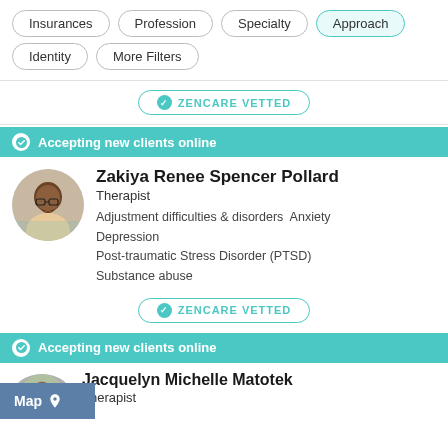Insurances
Profession
Specialty
Approach
Identity
More Filters
ZENCARE VETTED
Accepting new clients online
Zakiya Renee Spencer Pollard
Therapist
Adjustment difficulties & disorders  Anxiety  Depression  Post-traumatic Stress Disorder (PTSD)  Substance abuse
ZENCARE VETTED
Accepting new clients online
Jacquelyn Michelle Matotek
Therapist